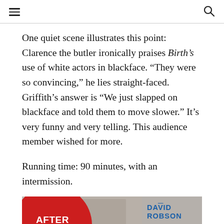≡  🔍
One quiet scene illustrates this point: Clarence the butler ironically praises Birth's use of white actors in blackface. “They were so convincing,” he lies straight-faced. Griffith’s answer is “We just slapped on blackface and told them to move slower.” It’s very funny and very telling. This audience member wished for more.
Running time: 90 minutes, with an intermission.
[Figure (photo): Advertisement image showing a red circle with text 'AFTER BIRTH OF A' and a woman and man, with 'DAVID ROBSON' text overlay in blue]